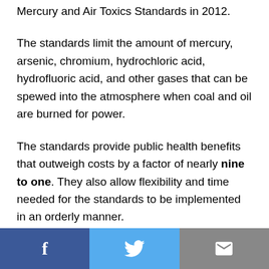Mercury and Air Toxics Standards in 2012.
The standards limit the amount of mercury, arsenic, chromium, hydrochloric acid, hydrofluoric acid, and other gases that can be spewed into the atmosphere when coal and oil are burned for power.
The standards provide public health benefits that outweigh costs by a factor of nearly nine to one. They also allow flexibility and time needed for the standards to be implemented in an orderly manner.
[Figure (other): Social sharing bar with Facebook, Twitter, and email buttons at the bottom of the page]